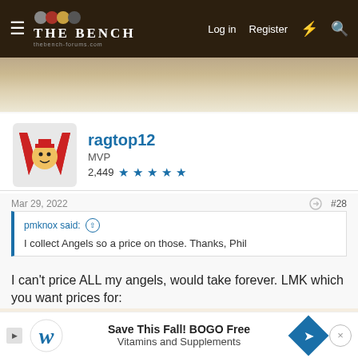THE BENCH — navigation bar with Log in, Register links
[Figure (screenshot): Website header/navigation bar for 'The Bench' sports forum with hamburger menu, logo, Log in, Register, and search icons on dark brown background]
[Figure (illustration): Wood grain decorative strip below navigation]
[Figure (illustration): User avatar for ragtop12 — stylized W logo with mascot]
ragtop12
MVP
2,449 ★★★★★
Mar 29, 2022
#28
pmknox said: ↑
I collect Angels so a price on those. Thanks, Phil
I can't price ALL my angels, would take forever. LMK which you want prices for:
This site uses cookies to help personalise content, tailor your experience and to keep you logged in if you register.
By continuing to use this site, you are consenting to our use of cookies.
Save This Fall! BOGO Free Vitamins and Supplements